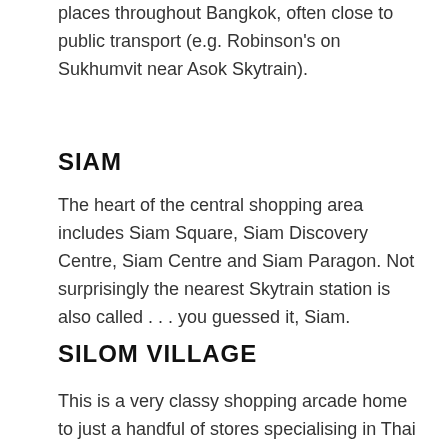places throughout Bangkok, often close to public transport (e.g. Robinson's on Sukhumvit near Asok Skytrain).
SIAM
The heart of the central shopping area includes Siam Square, Siam Discovery Centre, Siam Centre and Siam Paragon. Not surprisingly the nearest Skytrain station is also called . . . you guessed it, Siam.
SILOM VILLAGE
This is a very classy shopping arcade home to just a handful of stores specialising in Thai silk, handicrafts, leather, gems and jewellery. Silom Village is also a great venue to eat Thai food and watch performances